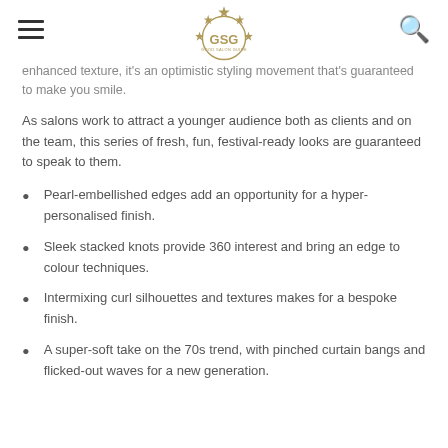GSG - Good Salon Guide
…enhanced texture, it's an optimistic styling movement that's guaranteed to make you smile.
As salons work to attract a younger audience both as clients and on the team, this series of fresh, fun, festival-ready looks are guaranteed to speak to them.
Pearl-embellished edges add an opportunity for a hyper-personalised finish.
Sleek stacked knots provide 360 interest and bring an edge to colour techniques.
Intermixing curl silhouettes and textures makes for a bespoke finish.
A super-soft take on the 70s trend, with pinched curtain bangs and flicked-out waves for a new generation.